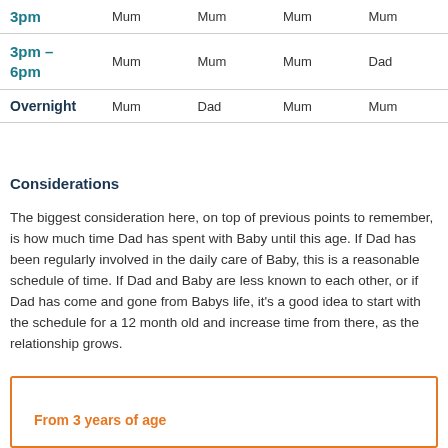| Time | Col1 | Col2 | Col3 | Col4 |
| --- | --- | --- | --- | --- |
| 3pm | Mum | Mum | Mum | Mum |
| 3pm – 6pm | Mum | Mum | Mum | Dad |
| Overnight | Mum | Dad | Mum | Mum |
Considerations
The biggest consideration here, on top of previous points to remember, is how much time Dad has spent with Baby until this age. If Dad has been regularly involved in the daily care of Baby, this is a reasonable schedule of time. If Dad and Baby are less known to each other, or if Dad has come and gone from Babys life, it's a good idea to start with the schedule for a 12 month old and increase time from there, as the relationship grows.
From 3 years of age